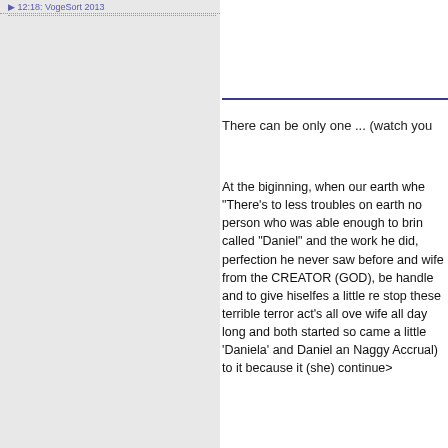12:18: VogeSort 2013
There can be only one ... (watch you
At the biginning, when our earth whe "There's to less troubles on earth no person who was able enough to brin called "Daniel" and the work he did, perfection he never saw before and wife from the CREATOR (GOD), be handle and to give hiselfes a little re stop these terrible terror act's all ove wife all day long and both started so came a little 'Daniela' and Daniel an Naggy Accrual) to it because it (she continue>